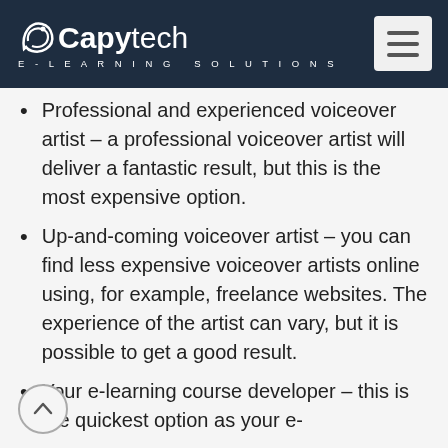Capytech E-LEARNING SOLUTIONS
Professional and experienced voiceover artist – a professional voiceover artist will deliver a fantastic result, but this is the most expensive option.
Up-and-coming voiceover artist – you can find less expensive voiceover artists online using, for example, freelance websites. The experience of the artist can vary, but it is possible to get a good result.
Your e-learning course developer – this is the quickest option as your e-